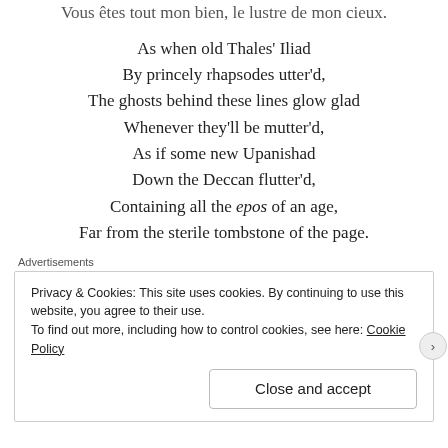Vous êtes tout mon bien, le lustre de mon cieux.
As when old Thales' Iliad
By princely rhapsodes utter'd,
The ghosts behind these lines glow glad
Whenever they'll be mutter'd,
As if some new Upanishad
Down the Deccan flutter'd,
Containing all the epos of an age,
Far from the sterile tombstone of the page.
Advertisements
[Figure (screenshot): WordPress.com advertisement banner with blue background, WordPress logo, and pink 'Build Your Website' button]
Privacy & Cookies: This site uses cookies. By continuing to use this website, you agree to their use.
To find out more, including how to control cookies, see here: Cookie Policy
Close and accept